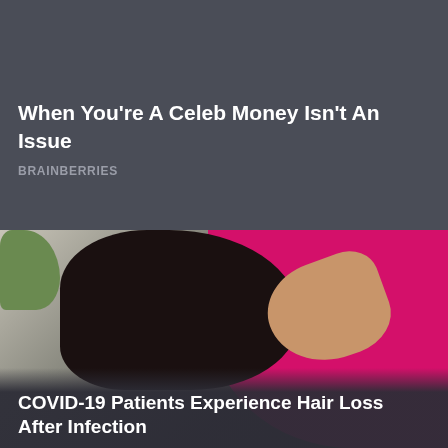When You're A Celeb Money Isn't An Issue
BRAINBERRIES
[Figure (photo): A person with long dark hair pulling their hair up with both hands, standing in front of a bright pink/magenta background with green plants visible on the left side.]
COVID-19 Patients Experience Hair Loss After Infection